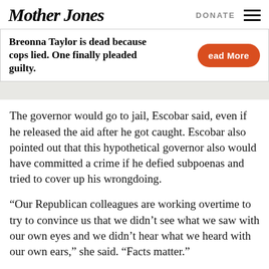Mother Jones | DONATE
Breonna Taylor is dead because cops lied. One finally pleaded guilty. Read More
The governor would go to jail, Escobar said, even if he released the aid after he got caught. Escobar also pointed out that this hypothetical governor also would have committed a crime if he defied subpoenas and tried to cover up his wrongdoing.
“Our Republican colleagues are working overtime to try to convince us that we didn’t see what we saw with our own eyes and we didn’t hear what we heard with our own ears,” she said. “Facts matter.”